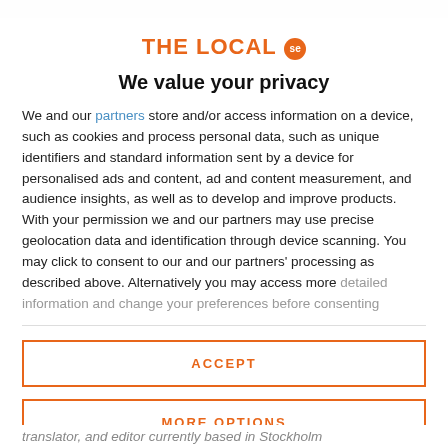THE LOCAL se
We value your privacy
We and our partners store and/or access information on a device, such as cookies and process personal data, such as unique identifiers and standard information sent by a device for personalised ads and content, ad and content measurement, and audience insights, as well as to develop and improve products. With your permission we and our partners may use precise geolocation data and identification through device scanning. You may click to consent to our and our partners' processing as described above. Alternatively you may access more detailed information and change your preferences before consenting
ACCEPT
MORE OPTIONS
translator, and editor currently based in Stockholm